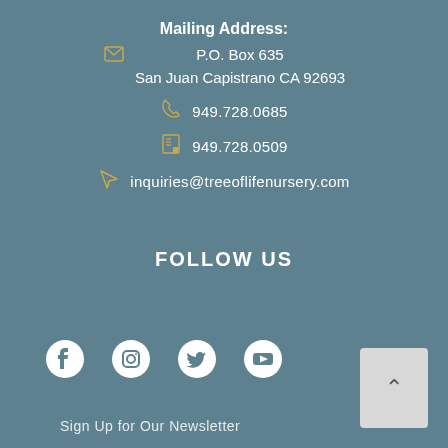Mailing Address:
P.O. Box 635
San Juan Capistrano CA 92693
949.728.0685
949.728.0509
inquiries@treeoflifenursery.com
FOLLOW US
[Figure (other): Social media icons: Facebook, Instagram, Twitter, YouTube]
Sign Up for Our Newsletter